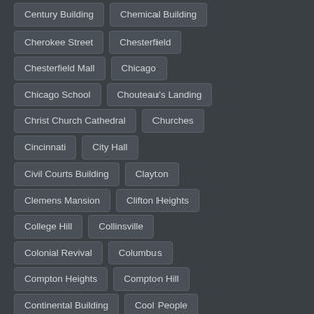Century Building
Chemical Building
Cherokee Street
Chesterfield
Chesterfield Mall
Chicago
Chicago School
Chouteau's Landing
Christ Church Cathedral
Churches
Cincinnati
City Hall
Civil Courts Building
Clayton
Clemens Mansion
Clifton Heights
College Hill
Collinsville
Colonial Revival
Columbus
Compton Heights
Compton Hill
Continental Building
Cool People